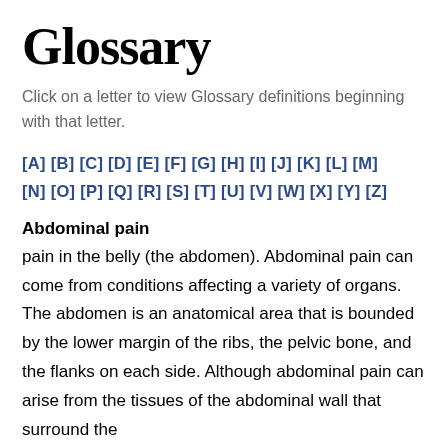Glossary
Click on a letter to view Glossary definitions beginning with that letter.
[A] [B] [C] [D] [E] [F] [G] [H] [I] [J] [K] [L] [M] [N] [O] [P] [Q] [R] [S] [T] [U] [V] [W] [X] [Y] [Z]
Abdominal pain
pain in the belly (the abdomen). Abdominal pain can come from conditions affecting a variety of organs. The abdomen is an anatomical area that is bounded by the lower margin of the ribs, the pelvic bone, and the flanks on each side. Although abdominal pain can arise from the tissues of the abdominal wall that surround the